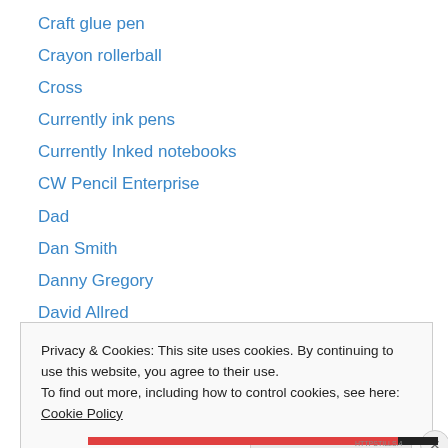Craft glue pen
Crayon rollerball
Cross
Currently ink pens
Currently Inked notebooks
CW Pencil Enterprise
Dad
Dan Smith
Danny Gregory
David Allred
DC Comics™
DC Pen Show
Decluttering
Privacy & Cookies: This site uses cookies. By continuing to use this website, you agree to their use.
To find out more, including how to control cookies, see here: Cookie Policy
Close and accept